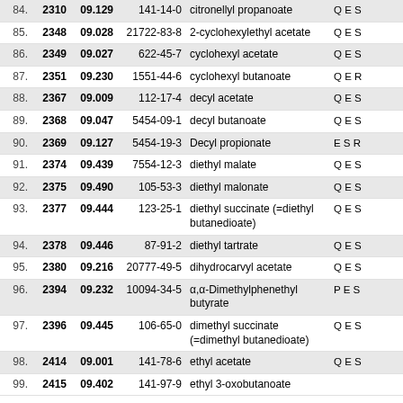| # | ID | Code | CAS | Name | Flags |
| --- | --- | --- | --- | --- | --- |
| 84. | 2310 | 09.129 | 141-14-0 | citronellyl propanoate | Q E S |
| 85. | 2348 | 09.028 | 21722-83-8 | 2-cyclohexylethyl acetate | Q E S |
| 86. | 2349 | 09.027 | 622-45-7 | cyclohexyl acetate | Q E S |
| 87. | 2351 | 09.230 | 1551-44-6 | cyclohexyl butanoate | Q E R |
| 88. | 2367 | 09.009 | 112-17-4 | decyl acetate | Q E S |
| 89. | 2368 | 09.047 | 5454-09-1 | decyl butanoate | Q E S |
| 90. | 2369 | 09.127 | 5454-19-3 | Decyl propionate | E S R |
| 91. | 2374 | 09.439 | 7554-12-3 | diethyl malate | Q E S |
| 92. | 2375 | 09.490 | 105-53-3 | diethyl malonate | Q E S |
| 93. | 2377 | 09.444 | 123-25-1 | diethyl succinate (=diethyl butanedioate) | Q E S |
| 94. | 2378 | 09.446 | 87-91-2 | diethyl tartrate | Q E S |
| 95. | 2380 | 09.216 | 20777-49-5 | dihydrocarvyl acetate | Q E S |
| 96. | 2394 | 09.232 | 10094-34-5 | α,α-Dimethylphenethyl butyrate | P E S |
| 97. | 2396 | 09.445 | 106-65-0 | dimethyl succinate (=dimethyl butanedioate) | Q E S |
| 98. | 2414 | 09.001 | 141-78-6 | ethyl acetate | Q E S |
| 99. | 2415 | 09.402 | 141-97-9 | ethyl 3-oxobutanoate | ... |